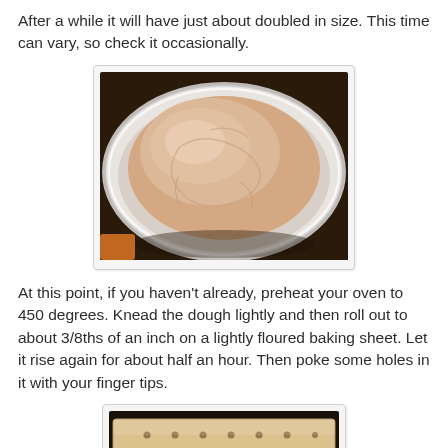After a while it will have just about doubled in size. This time can vary, so check it occasionally.
[Figure (photo): Photo of risen bread dough filling a round white bowl, photographed from above. The dough is smooth and pale, nearly filling the bowl.]
At this point, if you haven't already, preheat your oven to 450 degrees. Knead the dough lightly and then roll out to about 3/8ths of an inch on a lightly floured baking sheet. Let it rise again for about half an hour. Then poke some holes in it with your finger tips.
[Figure (photo): Photo of rolled-out dough on a baking sheet covered in plastic wrap, showing finger-poked holes across the surface.]